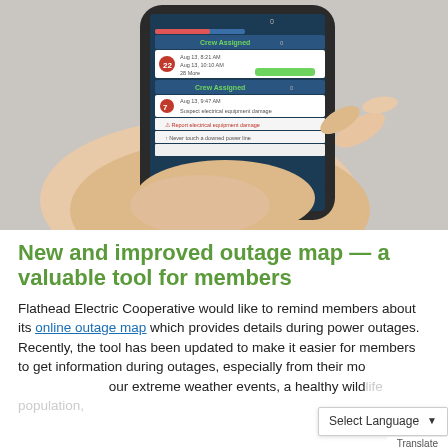[Figure (photo): Hands holding a smartphone displaying a power outage tracking app with crew assignment notifications and red badge indicators]
New and improved outage map — a valuable tool for members
Flathead Electric Cooperative would like to remind members about its online outage map which provides details during power outages. Recently, the tool has been updated to make it easier for members to get information during outages, especially from their mo... our extreme weather events, a healthy wildlife population,